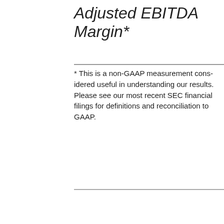Adjusted EBITDA Margin*
* This is a non-GAAP measurement considered useful in understanding our results. Please see our most recent SEC financial filings for definitions and reconciliation to GAAP.